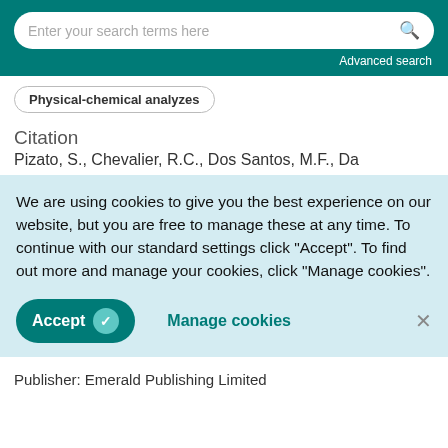Enter your search terms here | Advanced search
Physical-chemical analyzes
Citation
Pizato, S., Chevalier, R.C., Dos Santos, M.F., Da
We are using cookies to give you the best experience on our website, but you are free to manage these at any time. To continue with our standard settings click "Accept". To find out more and manage your cookies, click "Manage cookies".
Accept | Manage cookies | ×
Publisher: Emerald Publishing Limited